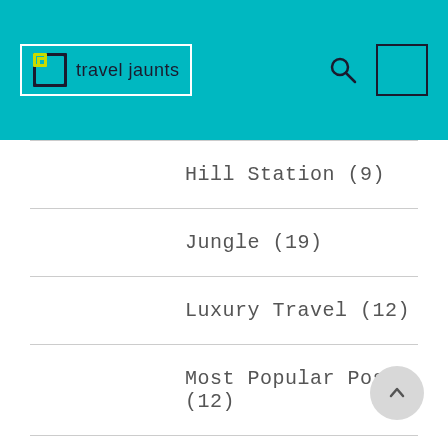travel jaunts
Hill Station (9)
Jungle (19)
Luxury Travel (12)
Most Popular Posts (12)
Recent Posts (57)
Religious tour (5)
Romantic (20)